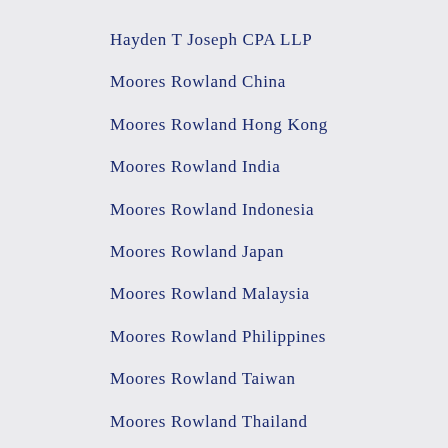Hayden T Joseph CPA LLP
Moores Rowland China
Moores Rowland Hong Kong
Moores Rowland India
Moores Rowland Indonesia
Moores Rowland Japan
Moores Rowland Malaysia
Moores Rowland Philippines
Moores Rowland Taiwan
Moores Rowland Thailand
Moores Rowland Singapore